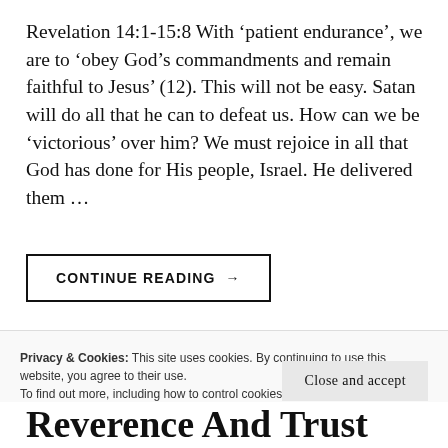Revelation 14:1-15:8 With ‘patient endurance’, we are to ‘obey God’s commandments and remain faithful to Jesus’ (12). This will not be easy. Satan will do all that he can to defeat us. How can we be ‘victorious’ over him? We must rejoice in all that God has done for His people, Israel. He delivered them …
CONTINUE READING →
Privacy & Cookies: This site uses cookies. By continuing to use this website, you agree to their use.
To find out more, including how to control cookies, see here: Cookie Policy
Close and accept
Reverence And Trust